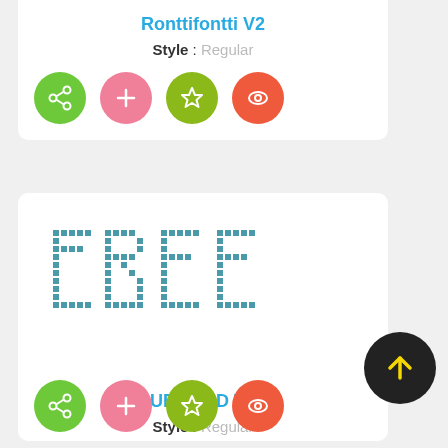Ronttifontti V2
Style : Regular
[Figure (infographic): Four circular icon buttons: green share icon, pink plus icon, dark-green star icon, red-orange eye icon]
[Figure (illustration): Font preview showing the word FREE rendered in a dotted/LED matrix style font called CUBS LED TFB in teal/dark cyan color]
CUBS LED TFB
Style : Regular
[Figure (infographic): Partial view of four circular icon buttons at bottom: green share, pink plus, dark-green star, red-orange eye]
[Figure (infographic): Black circular FAB button with yellow upward arrow]